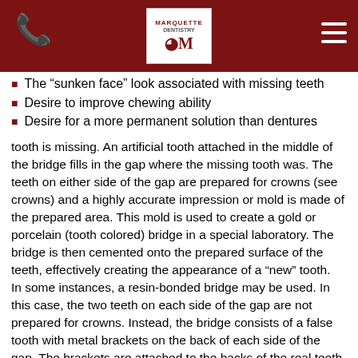Marquette Dentistry header
The “sunken face” look associated with missing teeth
Desire to improve chewing ability
Desire for a more permanent solution than dentures
tooth is missing. An artificial tooth attached in the middle of the bridge fills in the gap where the missing tooth was. The teeth on either side of the gap are prepared for crowns (see crowns) and a highly accurate impression or mold is made of the prepared area. This mold is used to create a gold or porcelain (tooth colored) bridge in a special laboratory. The bridge is then cemented onto the prepared surface of the teeth, effectively creating the appearance of a “new” tooth.
In some instances, a resin-bonded bridge may be used. In this case, the two teeth on each side of the gap are not prepared for crowns. Instead, the bridge consists of a false tooth with metal brackets on the back of each side of the gap. The brackets are attached to the backs of the real teeth on each side.
Advantages: